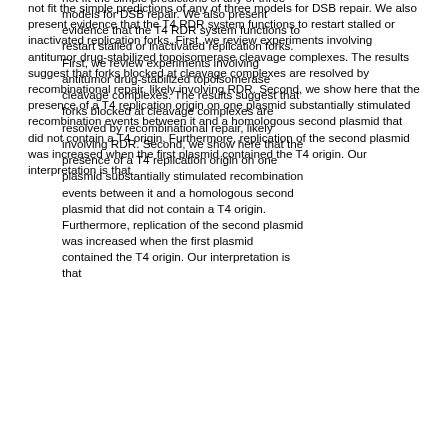not fit the simple predictions of any of three models for DSB repair. We also present evidence that the T4 RDR system functions to restart stalled or inactivated replication forks. First, we review experiments involving antitumor drug-stabilized topoisomerase cleavage complexes. The results suggest that forks blocked at cleavage complexes are resolved by recombinational repair, likely involving RDR. Second, we show here that the presence of a T4 replication origin on one plasmid substantially stimulated recombination events between it and a homologous second plasmid that did not contain a T4 origin. Furthermore, replication of the second plasmid was increased when the first plasmid contained the T4 origin. Our interpretation is that